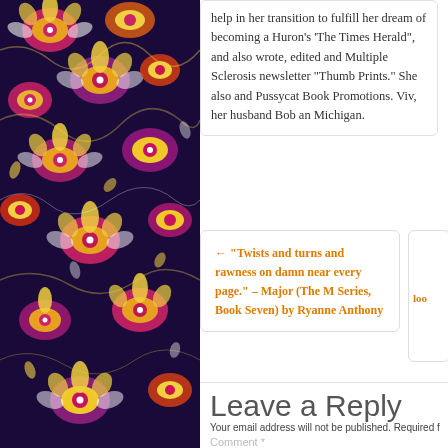[Figure (illustration): Decorative left strip with colorful African-style floral and geometric pattern in purple, pink, yellow, and white]
help in her transition to fulfill her dream of becoming a Huron's 'The Times Herald", and also wrote, edited and Multiple Sclerosis newsletter "Thumb Prints." She also and Pussycat Book Promotions. Viv, her husband Bob an Michigan.
← “Twists and turns and rawness on damn near every page.” – Major (The M Series, Book Seven) by Ryanne Anthony
look
Leave a Reply
Your email address will not be published. Required f
Comment *